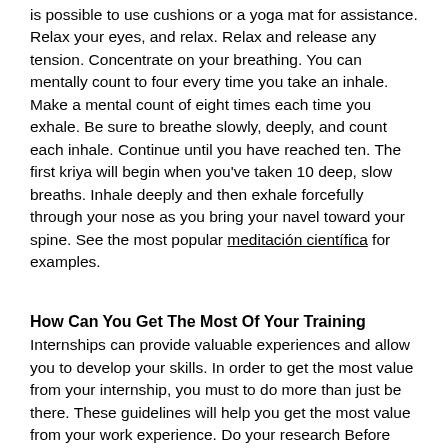is possible to use cushions or a yoga mat for assistance. Relax your eyes, and relax. Relax and release any tension. Concentrate on your breathing. You can mentally count to four every time you take an inhale. Make a mental count of eight times each time you exhale. Be sure to breathe slowly, deeply, and count each inhale. Continue until you have reached ten. The first kriya will begin when you've taken 10 deep, slow breaths. Inhale deeply and then exhale forcefully through your nose as you bring your navel toward your spine. See the most popular meditación científica for examples.
How Can You Get The Most Of Your Training
Internships can provide valuable experiences and allow you to develop your skills. In order to get the most value from your internship, you must to do more than just be there. These guidelines will help you get the most value from your work experience. Do your research Before beginning your internship, make sure you take the time to research the organization and the field. This will make it easier to start your internship right now.